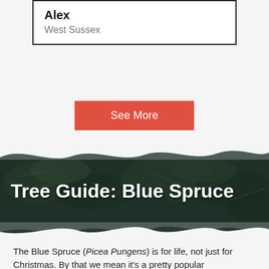Alex
West Sussex
See More
[Figure (photo): Blue spruce tree branches with needle foliage, used as banner background with wavy edges]
Tree Guide: Blue Spruce
The Blue Spruce (Picea Pungens) is for life, not just for Christmas. By that we mean it's a pretty popular